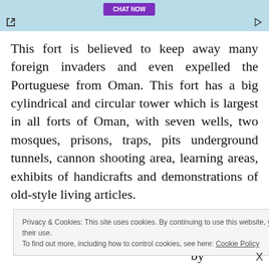[Figure (other): Advertisement banner with purple button and light blue background, expand icon bottom-left, play icon bottom-right]
This fort is believed to keep away many foreign invaders and even expelled the Portuguese from Oman. This fort has a big cylindrical and circular tower which is largest in all forts of Oman, with seven wells, two mosques, prisons, traps, pits underground tunnels, cannon shooting area, learning areas, exhibits of handicrafts and demonstrations of old-style living articles.
Privacy & Cookies: This site uses cookies. By continuing to use this website, you agree to their use.
To find out more, including how to control cookies, see here: Cookie Policy
und 98 feet was ruled by as center of place has